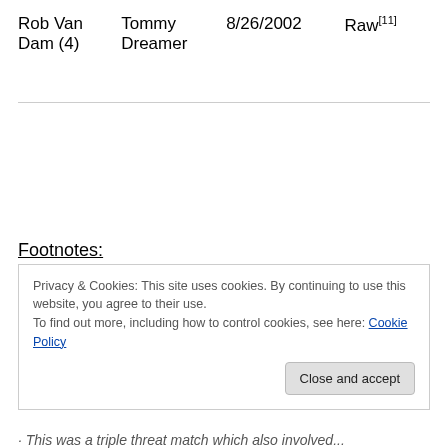| Rob Van Dam (4) | Tommy Dreamer | 8/26/2002 | Raw[11] |
Footnotes:
[1]: Mankind had been awarded this new title by Vince McMahon on November 2, 1998, as a reward for his loyalty to the WWF owner and his Corporation.
Privacy & Cookies: This site uses cookies. By continuing to use this website, you agree to their use. To find out more, including how to control cookies, see here: Cookie Policy
This was a triple threat match which also involved...